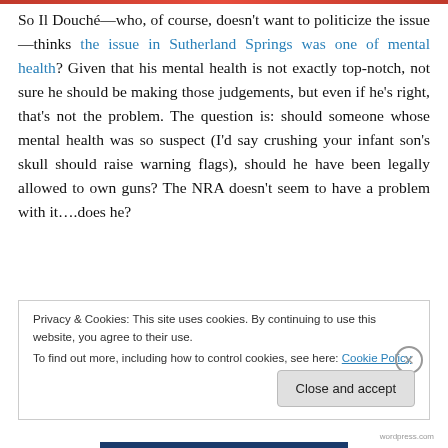So Il Douché—who, of course, doesn't want to politicize the issue—thinks the issue in Sutherland Springs was one of mental health? Given that his mental health is not exactly top-notch, not sure he should be making those judgements, but even if he's right, that's not the problem. The question is: should someone whose mental health was so suspect (I'd say crushing your infant son's skull should raise warning flags), should he have been legally allowed to own guns? The NRA doesn't seem to have a problem with it….does he?
Privacy & Cookies: This site uses cookies. By continuing to use this website, you agree to their use.
To find out more, including how to control cookies, see here: Cookie Policy